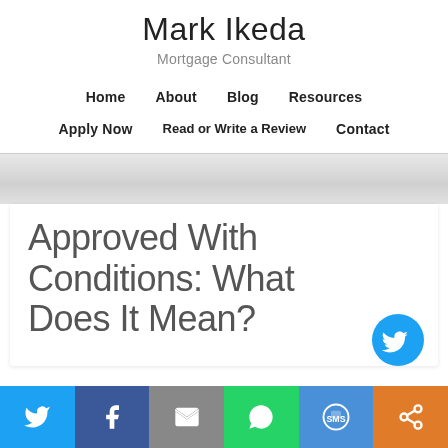Mark Ikeda
Mortgage Consultant
Home   About   Blog   Resources   Apply Now   Read or Write a Review   Contact
Approved With Conditions: What Does It Mean?